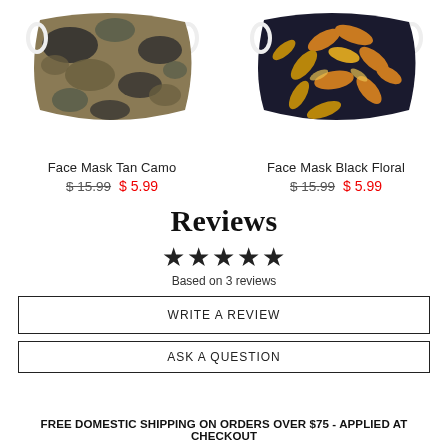[Figure (photo): Face mask with tan camouflage pattern, positioned left side]
[Figure (photo): Face mask with black floral pattern, positioned right side]
Face Mask Tan Camo
$ 15.99  $ 5.99
Face Mask Black Floral
$ 15.99  $ 5.99
Reviews
★★★★★
Based on 3 reviews
WRITE A REVIEW
ASK A QUESTION
FREE DOMESTIC SHIPPING ON ORDERS OVER $75 - APPLIED AT CHECKOUT